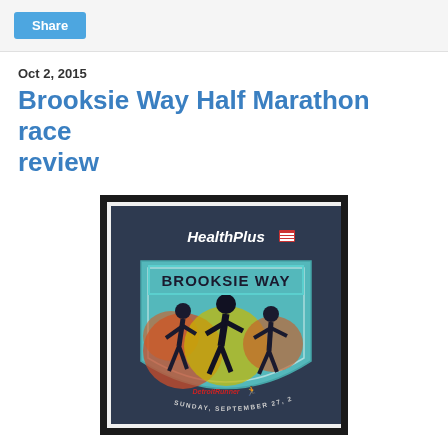Share
Oct 2, 2015
Brooksie Way Half Marathon race review
[Figure (illustration): HealthPlus Brooksie Way race logo/poster on a dark navy background, featuring a shield shape with running figures, autumn leaves in orange and yellow, text 'HealthPlus BROOKSIE WAY', 'Detroit Runner', and 'Sunday, September 27, 2015', displayed inside a black picture frame.]